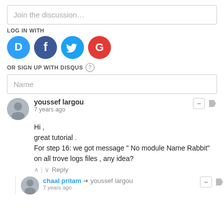Join the discussion…
LOG IN WITH
[Figure (other): Social login icons: Disqus (D), Facebook (f), Twitter (bird), Google (G)]
OR SIGN UP WITH DISQUS ?
Name
youssef largou
7 years ago
Hi ,
great tutorial .
For step 16: we got message " No module Name Rabbit" on all trove logs files , any idea?
^ | v  Reply
chaal pritam → youssef largou
7 years ago